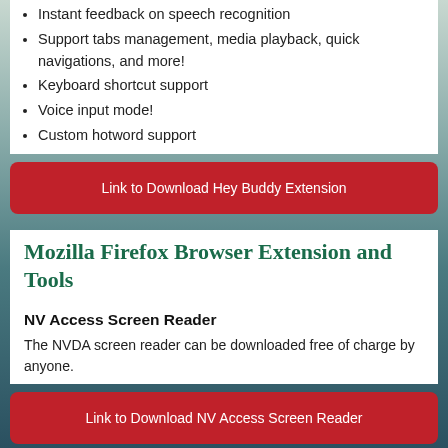Instant feedback on speech recognition
Support tabs management, media playback, quick navigations, and more!
Keyboard shortcut support
Voice input mode!
Custom hotword support
Link to Download Hey Buddy Extension
Mozilla Firefox Browser Extension and Tools
NV Access Screen Reader
The NVDA screen reader can be downloaded free of charge by anyone.
Link to Download NV Access Screen Reader
Android Phones